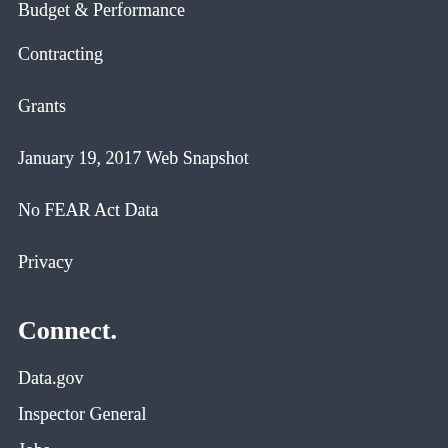Budget & Performance
Contracting
Grants
January 19, 2017 Web Snapshot
No FEAR Act Data
Privacy
Connect.
Data.gov
Inspector General
Jobs
Newsroom